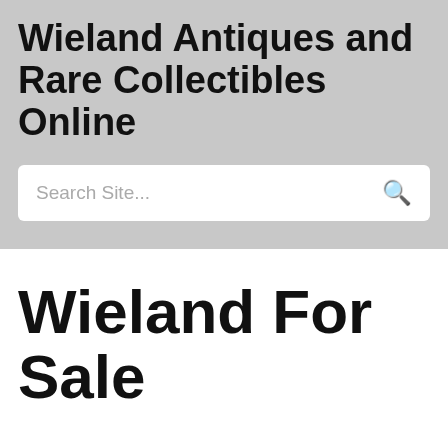Wieland Antiques and Rare Collectibles Online
Search Site...
Wieland For Sale